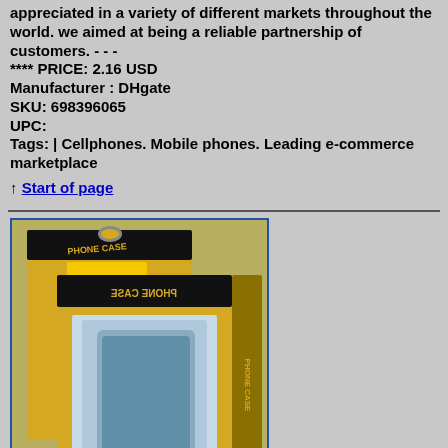appreciated in a variety of different markets throughout the world. we aimed at being a reliable partnership of customers. - - - **** PRICE: 2.16 USD
Manufacturer : DHgate
SKU: 698396065
UPC:
Tags: | Cellphones. Mobile phones. Leading e-commerce marketplace
↑ Start of page
[Figure (photo): Photo of a yellow phone case packaging box labeled 'PHONE CASE' with text 'for defender case' at the bottom, shown with two boxes slightly overlapping]
wholesale luxury pvc packaging box for iphone